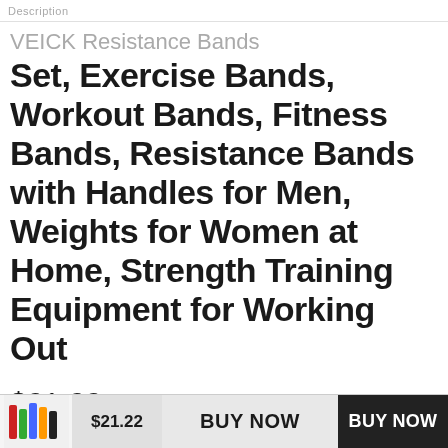Description
VEICK Resistance Bands Set, Exercise Bands, Workout Bands, Fitness Bands, Resistance Bands with Handles for Men, Weights for Women at Home, Strength Training Equipment for Working Out
$21.22 $29.99
$21.22   BUY NOW   BUY NOW